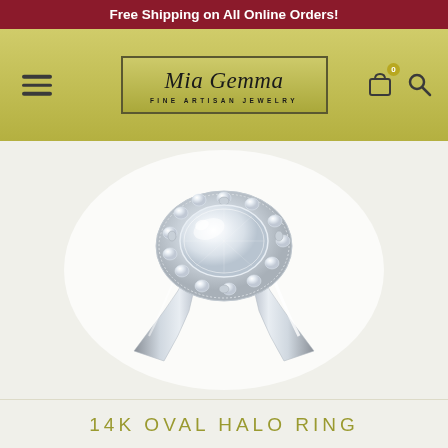Free Shipping on All Online Orders!
[Figure (logo): Mia Gemma Fine Artisan Jewelry logo with navigation icons (hamburger menu, shopping bag with 0, search)]
[Figure (photo): A 14K white gold oval halo diamond engagement ring with a large oval center stone surrounded by a halo of small round diamonds on a milgrain-edged platform, with a smooth plain band.]
14K OVAL HALO RING